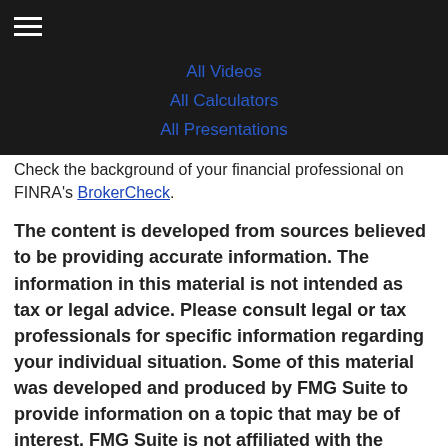All Videos | All Calculators | All Presentations
Check the background of your financial professional on FINRA's BrokerCheck.
The content is developed from sources believed to be providing accurate information. The information in this material is not intended as tax or legal advice. Please consult legal or tax professionals for specific information regarding your individual situation. Some of this material was developed and produced by FMG Suite to provide information on a topic that may be of interest. FMG Suite is not affiliated with the named representative, broker - dealer, state - or SEC - registered investment advisory firm. The opinions expressed and material provided are for general information, and should not be considered a